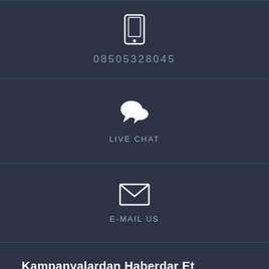[Figure (other): Smartphone/phone icon centered, white outline style]
08505328045
[Figure (other): Live chat speech bubble icon, white filled, centered]
LIVE CHAT
[Figure (other): Envelope/email icon, white outline style, centered]
E-MAIL US
Kampanyalardan Haberdar Et
Özel Teklifler İçin Üye Olun:
Email